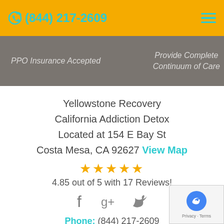(844) 217-2609
PPO Insurance Accepted
Provide Complete Continuum of Care
Yellowstone Recovery
California Addiction Detox
Located at 154 E Bay St
Costa Mesa, CA 92627 View Map
4.85 out of 5 with 17 Reviews!
Phone: (844) 217-2609
Local Phone: (949) 646-4484